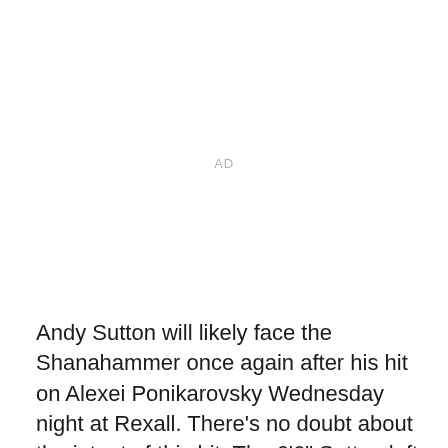AD
Andy Sutton will likely face the Shanahammer once again after his hit on Alexei Ponikarovsky Wednesday night at Rexall. There's no doubt about the intent of this hit. The 6'6" Sutton left his feet to make the hit and aimed directly for Ponikarovsky's head. Sutton was whistled for a two-minute boarding minor, but I'm in agreement with Ray Ferraro in the clip above, I have no idea how he avoided a major and a game